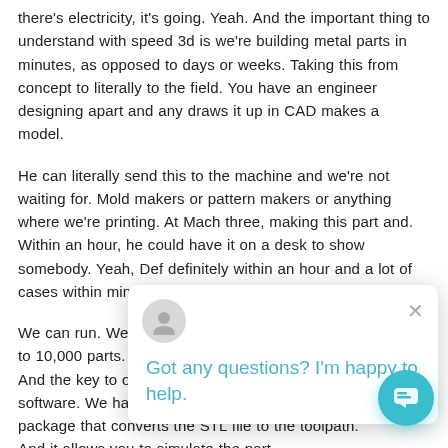there's electricity, it's going. Yeah. And the important thing to understand with speed 3d is we're building metal parts in minutes, as opposed to days or weeks. Taking this from concept to literally to the field. You have an engineer designing apart and any draws it up in CAD makes a model.
He can literally send this to the machine and we're not waiting for. Mold makers or pattern makers or anything where we're printing. At Mach three, making this part and. Within an hour, he could have it on a desk to show somebody. Yeah, Def definitely within an hour and a lot of cases within minutes.
We can run. We have [obscured by chat popup] to 10,000 parts. It's T[obscured] And the key to our w[obscured] software. We have a [obscured] package that converts the STL file to the toolpath. And it allows you to simulate the part.
And do your trial and error. In the software prior to sending it to the machine. So when you do print the part, there's no errors. So speed 3d. And I don't know
[Figure (other): Chat widget popup with avatar icon, close button (×), and message 'Got any questions? I'm happy to help.' in teal text. Also a teal circular chat launcher button in bottom-right corner.]